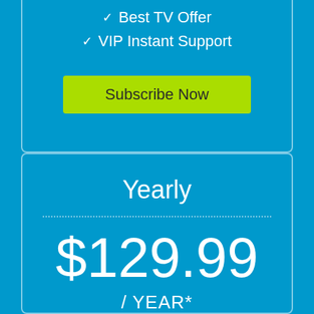✓ Best TV Offer
✓ VIP Instant Support
Subscribe Now
Yearly
$129.99
/ YEAR*